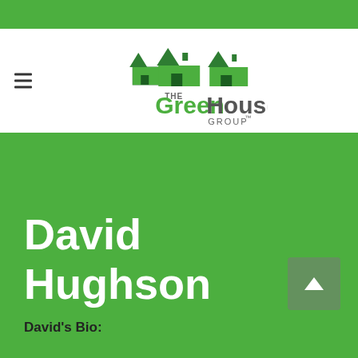[Figure (logo): The GreenHouse Group logo with three house icons above the text]
David Hughson
David's Bio: